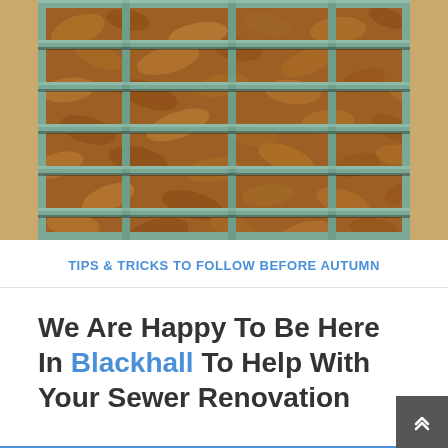[Figure (photo): Close-up photograph of a metal drain grate with horizontal and vertical bars, filled with brown dried autumn leaves underneath and around the grate.]
TIPS & TRICKS TO FOLLOW BEFORE AUTUMN
We Are Happy To Be Here In Blackhall To Help With Your Sewer Renovation